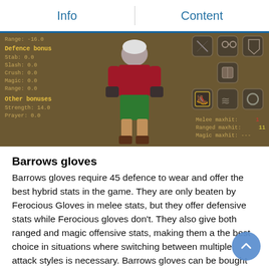Info | Content
[Figure (screenshot): Game screenshot showing a character wearing a red shirt and green shorts with Barrows gloves equipped. Left panel shows stats: Range: -16.0, Defence bonus (Stab: 0.0, Slash: 0.0, Crush: 0.0, Magic: 0.0, Range: 0.0), Other bonuses (Strength: 14.0, Prayer: 0.0). Right panel shows equipment slots and Melee maxhit: 1, Ranged maxhit: 11, Magic maxhit: ---]
Barrows gloves
Barrows gloves require 45 defence to wear and offer the best hybrid stats in the game. They are only beaten by Ferocious Gloves in melee stats, but they offer defensive stats while Ferocious gloves don't. They also give both ranged and magic offensive stats, making them a the best choice in situations where switching between multiple attack styles is necessary. Barrows gloves can be bought from certain custom (points)